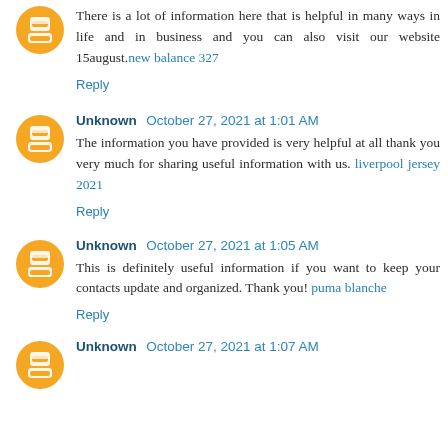There is a lot of information here that is helpful in many ways in life and in business and you can also visit our website 15august.new balance 327
Reply
Unknown October 27, 2021 at 1:01 AM
The information you have provided is very helpful at all thank you very much for sharing useful information with us. liverpool jersey 2021
Reply
Unknown October 27, 2021 at 1:05 AM
This is definitely useful information if you want to keep your contacts update and organized. Thank you! puma blanche
Reply
Unknown October 27, 2021 at 1:07 AM